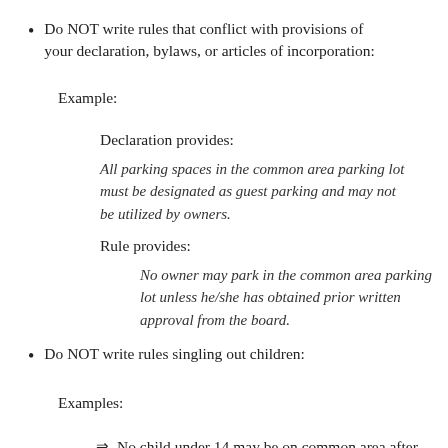Do NOT write rules that conflict with provisions of your declaration, bylaws, or articles of incorporation:
Example:
Declaration provides:
All parking spaces in the common area parking lot must be designated as guest parking and may not be utilized by owners.
Rule provides:
No owner may park in the common area parking lot unless he/she has obtained prior written approval from the board.
Do NOT write rules singling out children:
Examples:
No child under 14 may be on common area after